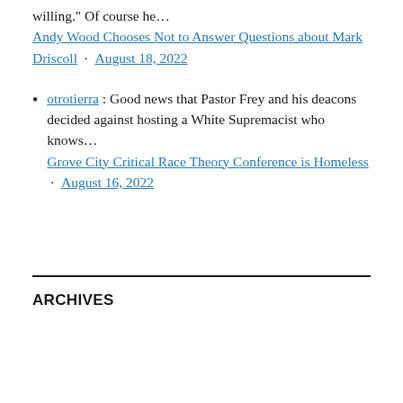willing." Of course he...
Andy Wood Chooses Not to Answer Questions about Mark Driscoll · August 18, 2022
otrotierra : Good news that Pastor Frey and his deacons decided against hosting a White Supremacist who knows... Grove City Critical Race Theory Conference is Homeless · August 16, 2022
ARCHIVES